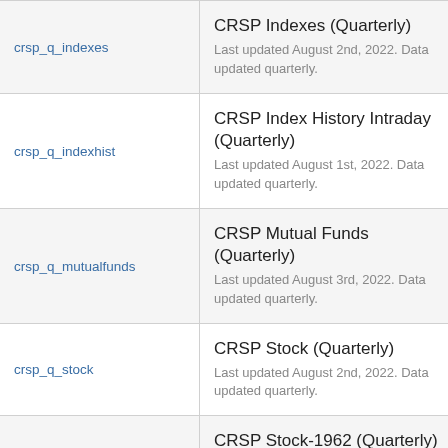| Dataset | Description |
| --- | --- |
| crsp_q_indexes | CRSP Indexes (Quarterly)
Last updated August 2nd, 2022. Data updated quarterly. |
| crsp_q_indexhist | CRSP Index History Intraday (Quarterly)
Last updated August 1st, 2022. Data updated quarterly. |
| crsp_q_mutualfunds | CRSP Mutual Funds (Quarterly)
Last updated August 3rd, 2022. Data updated quarterly. |
| crsp_q_stock | CRSP Stock (Quarterly)
Last updated August 2nd, 2022. Data updated quarterly. |
| crsp_q_stock62 | CRSP Stock-1962 (Quarterly)
Last updated August 3rd, 2022. Data updated quarterly. |